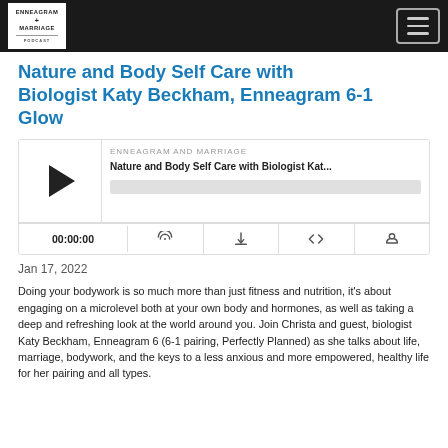ENNEAGRAM + MARRIAGE PODCAST
Nature and Body Self Care with Biologist Katy Beckham, Enneagram 6-1 Glow
[Figure (screenshot): Podcast audio player widget showing episode: ENNEAGRAM AND MARRIAGE — Nature and Body Self Care with Biologist Kat... with play button, progress bar, time display 00:00:00, and control icons (RSS, download, embed, share)]
Jan 17, 2022
Doing your bodywork is so much more than just fitness and nutrition, it's about engaging on a microlevel both at your own body and hormones, as well as taking a deep and refreshing look at the world around you. Join Christa and guest, biologist Katy Beckham, Enneagram 6 (6-1 pairing, Perfectly Planned) as she talks about life, marriage, bodywork, and the keys to a less anxious and more empowered, healthy life for her pairing and all types.